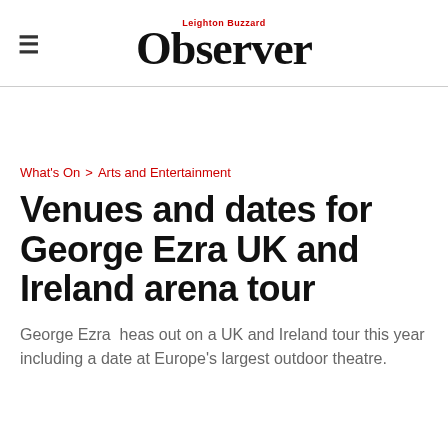Leighton Buzzard Observer
What's On > Arts and Entertainment
Venues and dates for George Ezra UK and Ireland arena tour
George Ezra  heas out on a UK and Ireland tour this year including a date at Europe's largest outdoor theatre.